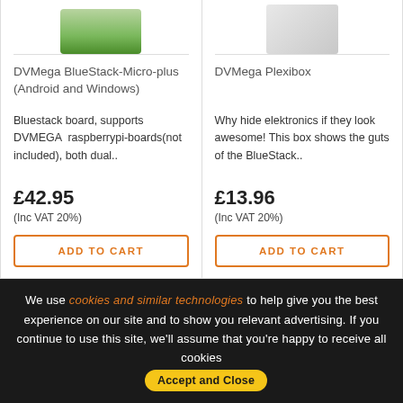[Figure (photo): Product image of DVMega BlueStack-Micro-plus board (green PCB), partially visible at top]
DVMega BlueStack-Micro-plus (Android and Windows)
Bluestack board, supports DVMEGA  raspberrypi-boards(not included), both dual..
£42.95
(Inc VAT 20%)
ADD TO CART
[Figure (photo): Product image of DVMega Plexibox (grey/white transparent box), partially visible at top]
DVMega Plexibox
Why hide elektronics if they look awesome! This box shows the guts of the BlueStack..
£13.96
(Inc VAT 20%)
ADD TO CART
We use cookies and similar technologies to help give you the best experience on our site and to show you relevant advertising. If you continue to use this site, we'll assume that you're happy to receive all cookies Accept and Close